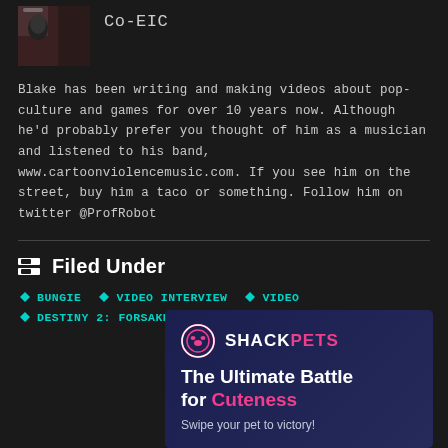Co-EIC
Blake has been writing and making videos about pop-culture and games for over 10 years now. Although he'd probably prefer you thought of him as a musician and listened to his band, www.cartoonviolencemusic.com. If you see him on the street, buy him a taco or something. Follow him on twitter @ProfRobot
Filed Under
BUNGIE
VIDEO INTERVIEW
VIDEO
DESTINY 2: FORSAKEN
GAMBIT MODE
[Figure (infographic): ShackPets advertisement banner with logo, title 'The Ultimate Battle for Cuteness' and tagline 'Swipe your pet to victory!']